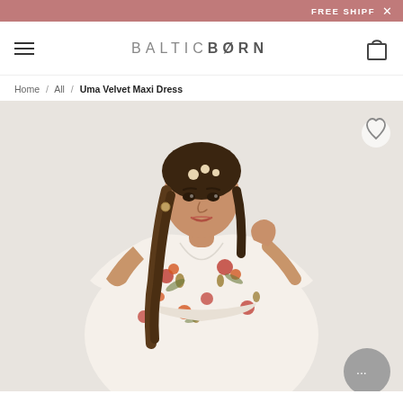FREE SHIPF ×
BALTICBORN
Home / All / Uma Velvet Maxi Dress
[Figure (photo): Model wearing a cream floral velvet maxi dress with short flutter sleeves. She has braided hair adorned with flowers and poses against a light grey background.]